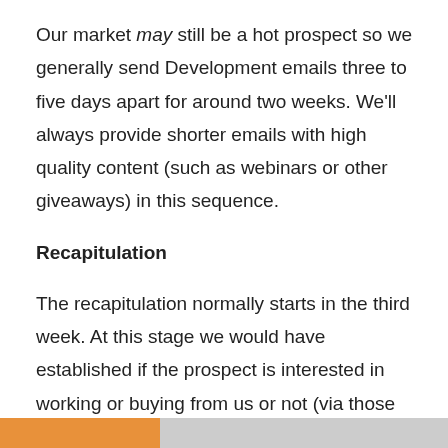Our market may still be a hot prospect so we generally send Development emails three to five days apart for around two weeks. We'll always provide shorter emails with high quality content (such as webinars or other giveaways) in this sequence.
Recapitulation
The recapitulation normally starts in the third week. At this stage we would have established if the prospect is interested in working or buying from us or not (via those that have unsubscribed or interacted positively in other ways). At this point we'll normally restate the